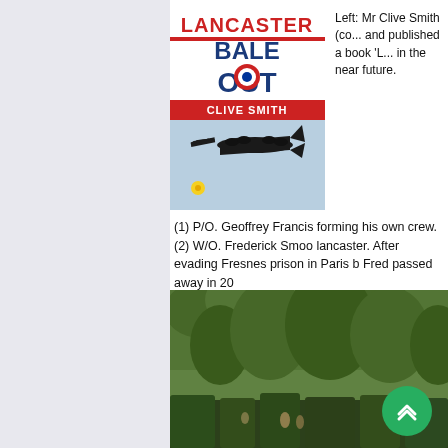[Figure (illustration): Book cover of 'Lancaster Bale Out' by Clive Smith, showing Lancaster bombers in flight against a cloudy sky. Title text in red and blue on white background.]
Left: Mr Clive Smith (co... and published a book 'L... in the near future.
(1) P/O. Geoffrey Francis forming his own crew. (2) W/O. Frederick Smoo lancaster. After evading Fresnes prison in Paris b Fred passed away in 20 (3) This was the 6th ab survived this incident, or the war.
[Figure (photo): Outdoor cemetery or memorial scene with tall green trees and hedges, people visible in the background among greenery.]